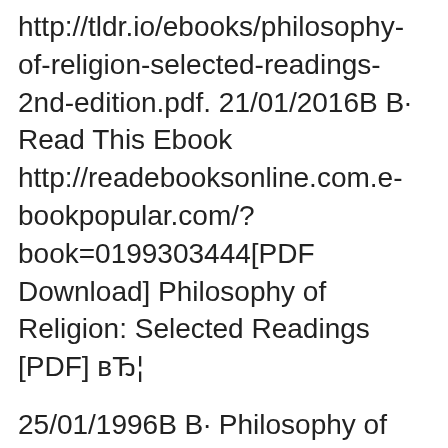http://tldr.io/ebooks/philosophy-of-religion-selected-readings-2nd-edition.pdf. 21/01/2016В В· Read This Ebook http://readebooksonline.com.e-bookpopular.com/?book=0199303444[PDF Download] Philosophy of Religion: Selected Readings [PDF] вЂ¦
25/01/1996В В· Philosophy of Religion has 156 ratings and 5 reviews. The new edition of this perennially popular anthology in the philosophy of religion examines both b... Philosophy of Religion: Selected Readings Paperback Books- Buy Philosophy of Religion: Selected Readings Books online at lowest price with Rating & Reviews